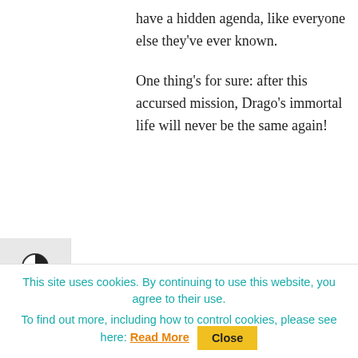have a hidden agenda, like everyone else they've ever known.
One thing's for sure: after this accursed mission, Drago's immortal life will never be the same again!
Share this.
This site uses cookies. By continuing to use this website, you agree to their use. To find out more, including how to control cookies, please see here: Read More Close